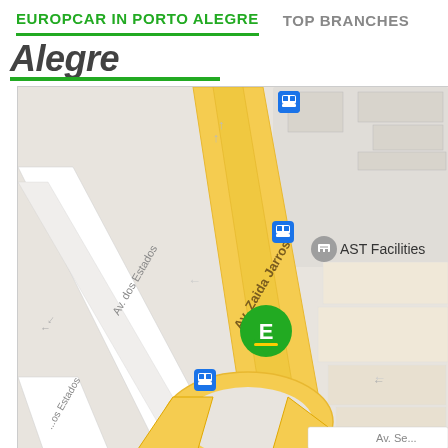EUROPCAR IN PORTO ALEGRE   TOP BRANCHES
Alegre
[Figure (map): Street map showing Av. Zaida Jarros and Av. dos Estados intersection in Porto Alegre, with a green Europcar location pin marked 'E', bus stop icons (blue squares), and AST Facilities label. Roads are shown in yellow (main) and white (side streets) on a light gray background.]